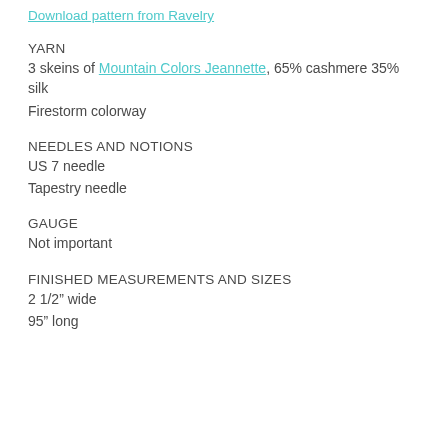Download pattern from Ravelry
YARN
3 skeins of Mountain Colors Jeannette, 65% cashmere 35% silk
Firestorm colorway
NEEDLES AND NOTIONS
US 7 needle
Tapestry needle
GAUGE
Not important
FINISHED MEASUREMENTS AND SIZES
2 1/2” wide
95” long